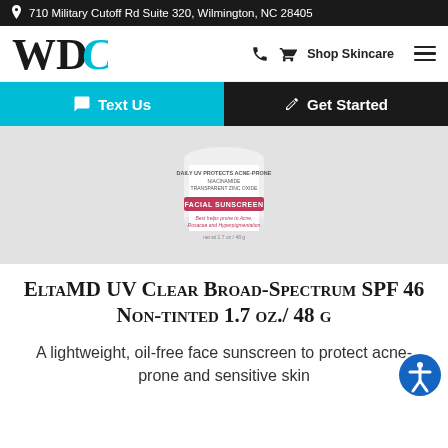710 Military Cutoff Rd Suite 320, Wilmington, NC 28405
[Figure (logo): WDC dermatology clinic logo with stylized W, D, C letters where C is in teal/cyan color]
Shop Skincare
Text Us
Get Started
[Figure (photo): EltaMD UV Clear Broad-Spectrum SPF 46 Non-tinted facial sunscreen product jar with pink label band, shown on light gray background]
EltaMD UV Clear Broad-Spectrum SPF 46 Non-tinted 1.7 oz./ 48 g
A lightweight, oil-free face sunscreen to protect acne-prone and sensitive skin